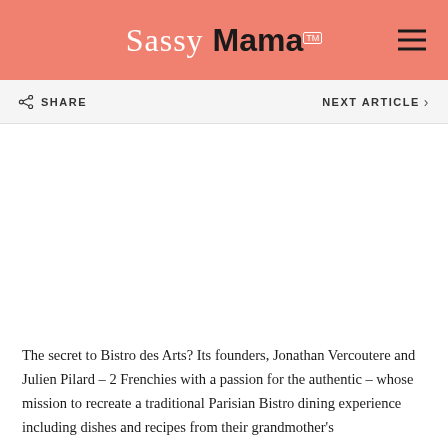Sassy Mama
SHARE   NEXT ARTICLE
[Figure (photo): Blank white image area placeholder for a restaurant photo]
The secret to Bistro des Arts? Its founders, Jonathan Vercoutere and Julien Pilard – 2 Frenchies with a passion for the authentic – whose mission to recreate a traditional Parisian Bistro dining experience including dishes and recipes from their grandmother's